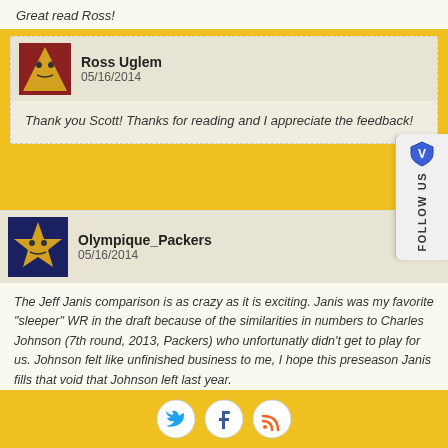Great read Ross!
Ross Uglem
05/16/2014
Thank you Scott! Thanks for reading and I appreciate the feedback!
Olympique_Packers
05/16/2014
The Jeff Janis comparison is as crazy as it is exciting. Janis was my favorite "sleeper" WR in the draft because of the similarities in numbers to Charles Johnson (7th round, 2013, Packers) who unfortunatly didn't get to play for us. Johnson felt like unfinished business to me, I hope this preseason Janis fills that void that Johnson left last year.
[Figure (illustration): Social media icons: Twitter bird, Facebook f, RSS feed symbol — circular white icons on gold background]